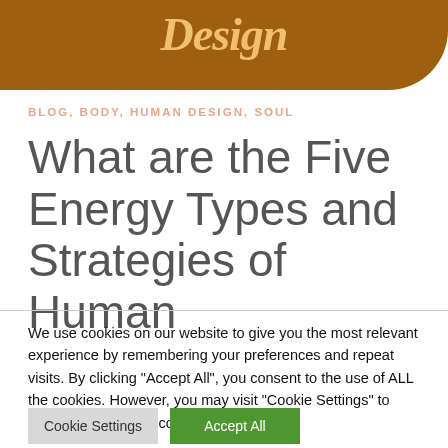Design
BLOG, BODY, HUMAN DESIGN, SOUL
What are the Five Energy Types and Strategies of Human
We use cookies on our website to give you the most relevant experience by remembering your preferences and repeat visits. By clicking “Accept All”, you consent to the use of ALL the cookies. However, you may visit “Cookie Settings” to provide a controlled consent.
Cookie Settings
Accept All